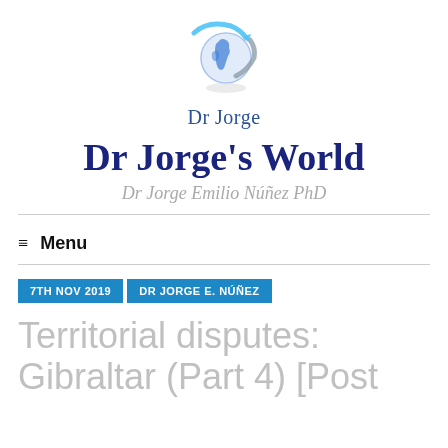[Figure (logo): Globe logo with blue swoosh arc around it, representing Dr Jorge's World website]
Dr Jorge
Dr Jorge's World
Dr Jorge Emilio Núñez PhD
Menu
7TH NOV 2019
DR JORGE E. NÚÑEZ
Territorial disputes: Gibraltar (Part 4) [Post